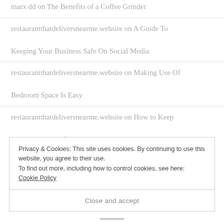marx dd on The Benefits of a Coffee Grinder
restaurantthatdeliversnearme.website on A Guide To Keeping Your Business Safe On Social Media
restaurantthatdeliversnearme.website on Making Use Of Bedroom Space Is Easy
restaurantthatdeliversnearme.website on How to Keep Your Children Safe Outdoors This Summer
Privacy & Cookies: This site uses cookies. By continuing to use this website, you agree to their use.
To find out more, including how to control cookies, see here: Cookie Policy
Close and accept